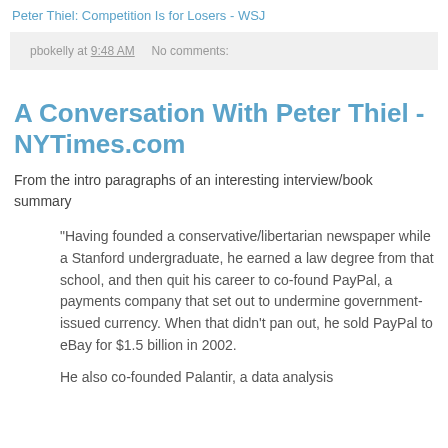Peter Thiel: Competition Is for Losers - WSJ
pbokelly at 9:48 AM    No comments:
A Conversation With Peter Thiel - NYTimes.com
From the intro paragraphs of an interesting interview/book summary
"Having founded a conservative/libertarian newspaper while a Stanford undergraduate, he earned a law degree from that school, and then quit his career to co-found PayPal, a payments company that set out to undermine government-issued currency. When that didn't pan out, he sold PayPal to eBay for $1.5 billion in 2002.
He also co-founded Palantir, a data analysis